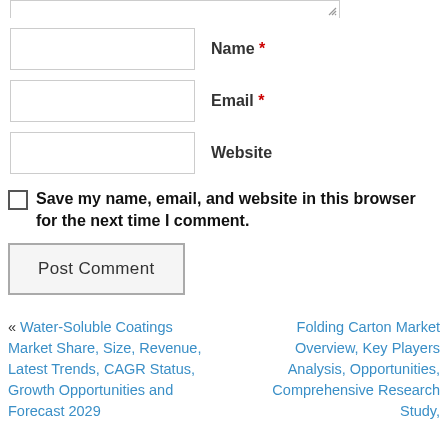[textarea top stub with resize handle]
Name *
Email *
Website
Save my name, email, and website in this browser for the next time I comment.
Post Comment
« Water-Soluble Coatings Market Share, Size, Revenue, Latest Trends, CAGR Status, Growth Opportunities and Forecast 2029
Folding Carton Market Overview, Key Players Analysis, Opportunities, Comprehensive Research Study,